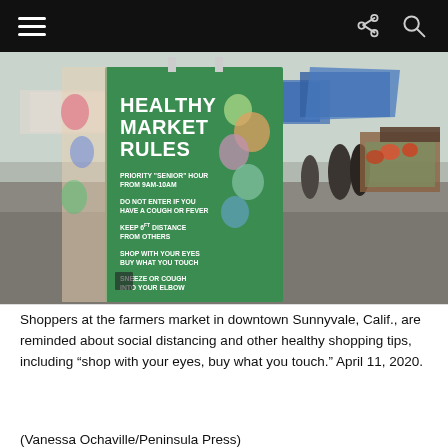[Navigation header with hamburger menu, share icon, search icon]
[Figure (photo): Farmers market in downtown Sunnyvale, California. A green sign in the foreground reads 'HEALTHY MARKET RULES' with guidelines including: Priority 'Senior' Hour from 9am-10am; Do not enter if you have a cough or fever; Keep 6ft distance from others; Shop with your eyes buy what you touch; Sneeze or cough into your elbow. In the background are market tents, vendors, and shoppers.]
Shoppers at the farmers market in downtown Sunnyvale, Calif., are reminded about social distancing and other healthy shopping tips, including “shop with your eyes, buy what you touch.” April 11, 2020. (Vanessa Ochaville/Peninsula Press)